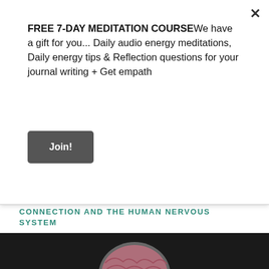FREE 7-DAY MEDITATION COURSEWe have a gift for you... Daily audio energy meditations, Daily energy tips & Reflection questions for your journal writing + Get empath
Join!
[Figure (photo): Woman standing at sunset holding an illuminated umbrella with fairy lights against a dark blue sky, smiling upward]
PODCAST INSPIRATION: THE BODY-MIND CONNECTION AND THE HUMAN NERVOUS SYSTEM
[Figure (photo): Partial view of a brain illustration on dark background, bottom of page]